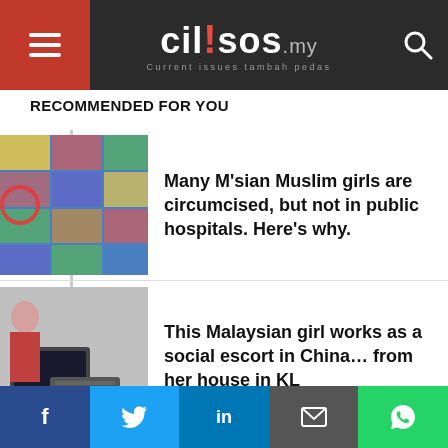cil;sos.my — Current issues tambah pedas
RECOMMENDED FOR YOU
Many M'sian Muslim girls are circumcised, but not in public hospitals. Here's why.
This Malaysian girl works as a social escort in China… from her house in KL
How many times has Namewee pissed off the government? Probably more than you remember
Facebook  Twitter  LinkedIn  Email  WhatsApp